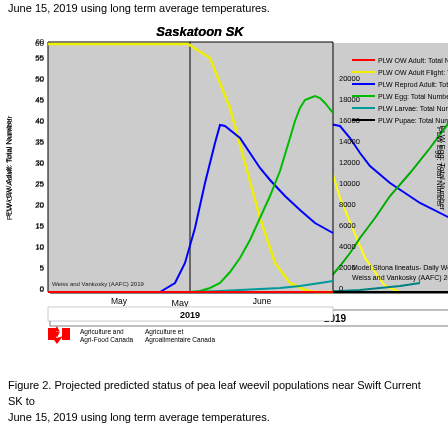June 15, 2019 using long term average temperatures.
[Figure (line-chart): Line chart showing projected predicted status of pea leaf weevil populations near Saskatoon SK. Lines include PLW OW Adult (red), PLW OW Adult Flight (yellow), PLW Reprod Adult (blue), PLW Egg (green), PLW Larvae (teal), PLW Pupae (black). X-axis: May, June 2019. Left Y-axis: PLW OW Adult Total Number 0-60. Right Y-axis: PLW Egg Total Number 0-20000.]
Figure 2. Projected predicted status of pea leaf weevil populations near Swift Current SK to
June 15, 2019 using long term average temperatures.
June 15, 2019 using long term average temperatures.